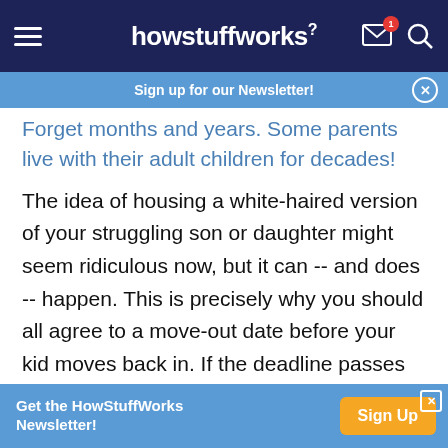howstuffworks
Sign up for our Newsletter!
Forget months and years. Some parents live with their adult children for decades!
The idea of housing a white-haired version of your struggling son or daughter might seem ridiculous now, but it can -- and does -- happen. This is precisely why you should all agree to a move-out date before your kid moves back in. If the deadline passes and your grown child still isn't ready to move out, you can have a conversation about extending it.
Get the HowStuffWorks Newsletter! Sign Up